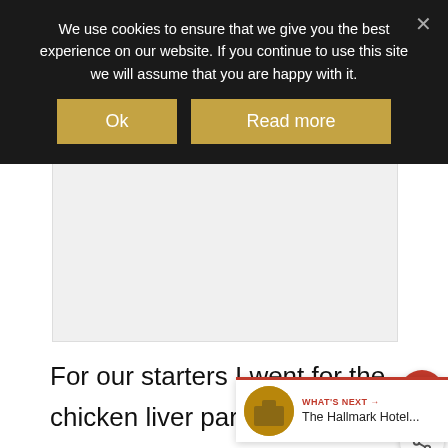We use cookies to ensure that we give you the best experience on our website. If you continue to use this site we will assume that you are happy with it.
[Figure (screenshot): Cookie consent banner with 'Ok' and 'Read more' buttons on dark background]
[Figure (other): Gray advertisement placeholder area]
For our starters I went for the chicken liver parfa which was served with a lovely chutney and a good amount of bread. Dave chose the fishcake which was really well presented and a g for a starter.
[Figure (screenshot): What's Next widget showing thumbnail of The Hallmark Hotel article]